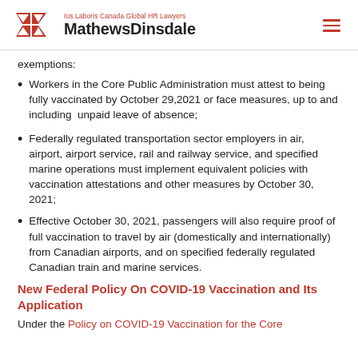Ius Laboris Canada Global HR Lawyers MathewsDinsdale
exemptions:
Workers in the Core Public Administration must attest to being fully vaccinated by October 29,2021 or face measures, up to and including  unpaid leave of absence;
Federally regulated transportation sector employers in air, airport, airport service, rail and railway service, and specified marine operations must implement equivalent policies with vaccination attestations and other measures by October 30, 2021;
Effective October 30, 2021, passengers will also require proof of full vaccination to travel by air (domestically and internationally) from Canadian airports, and on specified federally regulated Canadian train and marine services.
New Federal Policy On COVID-19 Vaccination and Its Application
Under the Policy on COVID-19 Vaccination for the Core